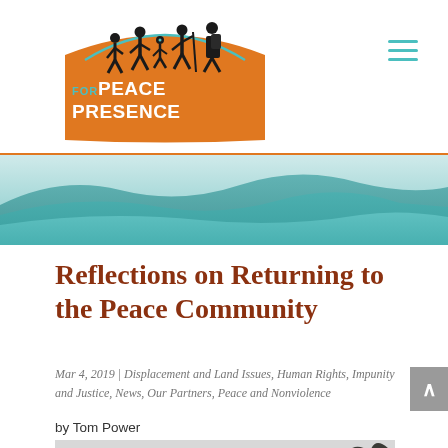[Figure (logo): For Peace Presence logo with silhouettes of people walking on an orange arch/mountain shape, with teal arc above]
[Figure (photo): Mountain landscape banner with teal/blue layered mountain ridges under a light sky]
Reflections on Returning to the Peace Community
Mar 4, 2019 | Displacement and Land Issues, Human Rights, Impunity and Justice, News, Our Partners, Peace and Nonviolence
by Tom Power
[Figure (photo): Partial photo of trees and cloudy sky at bottom of page]